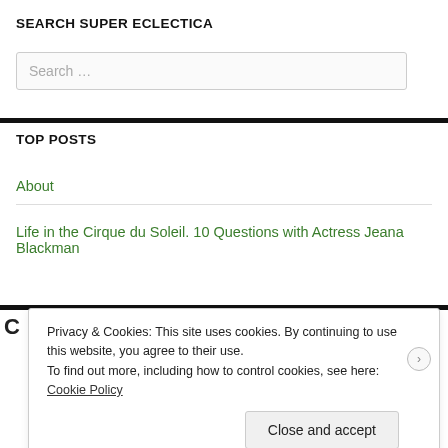SEARCH SUPER ECLECTICA
Search ...
TOP POSTS
About
Life in the Cirque du Soleil. 10 Questions with Actress Jeana Blackman
Privacy & Cookies: This site uses cookies. By continuing to use this website, you agree to their use.
To find out more, including how to control cookies, see here: Cookie Policy
Close and accept